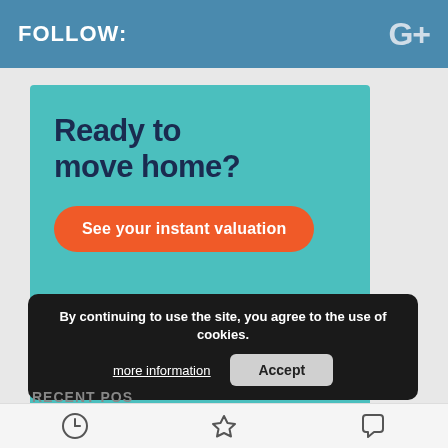FOLLOW:   G+
[Figure (illustration): Topa/Yopa real estate advertisement on teal background. Headline: 'Ready to move home?' with orange CTA button 'See your instant valuation'. House illustration at bottom left. Yopa logo bottom right with tagline 'A Smooth Move'.]
By continuing to use the site, you agree to the use of cookies.
more information    Accept
RECENT POS...